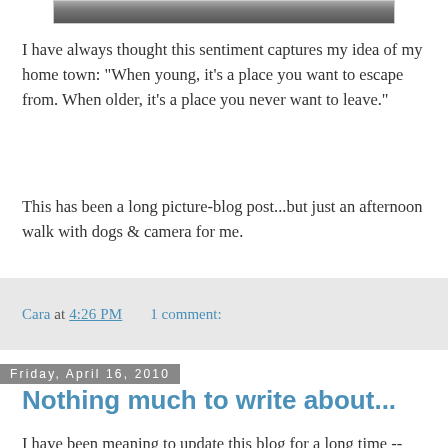[Figure (photo): Partial photo strip visible at the top of the page, showing a landscape or outdoor scene in grayscale.]
I have always thought this sentiment captures my idea of my home town: "When young, it's a place you want to escape from. When older, it's a place you never want to leave."
This has been a long picture-blog post...but just an afternoon walk with dogs & camera for me.
Cara at 4:26 PM    1 comment:
Friday, April 16, 2010
Nothing much to write about...
I have been meaning to update this blog for a long time -- obviously since I last posted in early April! However, I think my blog writing interest has waned to the point of becoming non-existent. I choose to spend whatever writing energy I have working on my memoir. And, of course, my life is very